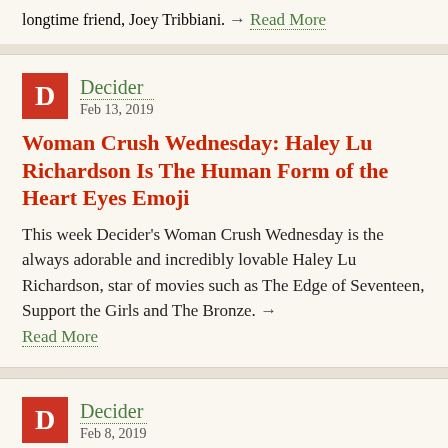longtime friend, Joey Tribbiani. → Read More
Decider
Feb 13, 2019
Woman Crush Wednesday: Haley Lu Richardson Is The Human Form of the Heart Eyes Emoji
This week Decider's Woman Crush Wednesday is the always adorable and incredibly lovable Haley Lu Richardson, star of movies such as The Edge of Seventeen, Support the Girls and The Bronze. → Read More
Decider
Feb 8, 2019
'Unbreakable Kimmy Schmidt's Year-Round Halloween Story Is Produced ith Sophisticated...